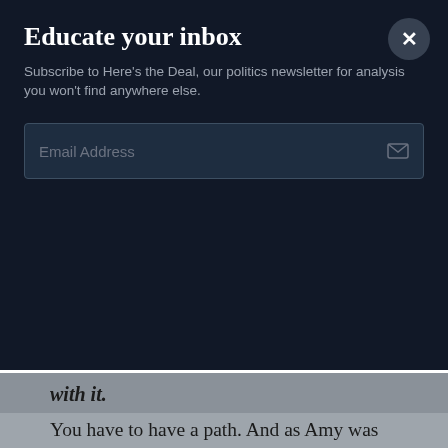Educate your inbox
Subscribe to Here's the Deal, our politics newsletter for analysis you won't find anywhere else.
Email Address
with it.
You have to have a path. And as Amy was laying out, Joe Biden does have a path still, even though he has this fractured, you know, quarter of the Democratic Party, it looks like. You know, if he were to win, place or show in Iowa, top three, kind of still be in the game in New Hampshire, he can retain what's held him up, which is that 60 percent of African-American